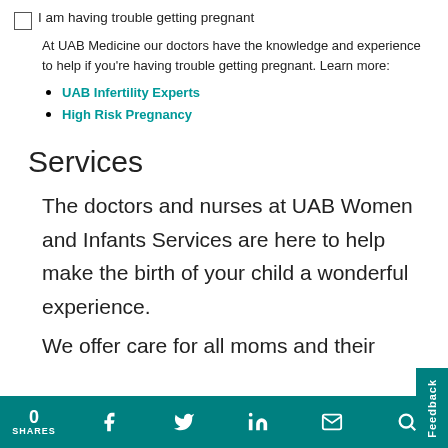I am having trouble getting pregnant
At UAB Medicine our doctors have the knowledge and experience to help if you're having trouble getting pregnant. Learn more:
UAB Infertility Experts
High Risk Pregnancy
Services
The doctors and nurses at UAB Women and Infants Services are here to help make the birth of your child a wonderful experience.
We offer care for all moms and their
0 SHARES | Facebook | Twitter | LinkedIn | Email | Search | Feedback